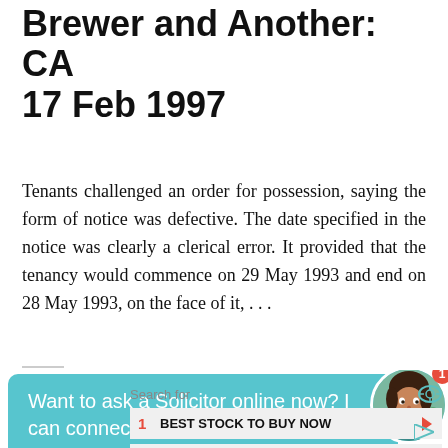Brewer and Another: CA 17 Feb 1997
Tenants challenged an order for possession, saying the form of notice was defective. The date specified in the notice was clearly a clerical error. It provided that the tenancy would commence on 29 May 1993 and end on 28 May 1993, on the face of it, . . .
[Figure (other): Teal chat bubble with text 'Want to ask a Solicitor online now? I can connect you ...' and circular avatar photo of a woman with notification badge showing '1']
Search for
1 BEST STOCK TO BUY NOW
2 FREE LIVE STREAMING PLATFORMS